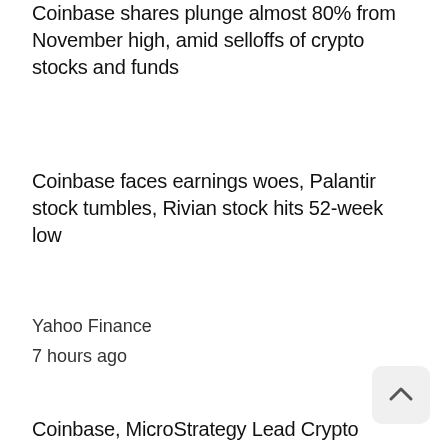Coinbase shares plunge almost 80% from November high, amid selloffs of crypto stocks and funds
Coinbase faces earnings woes, Palantir stock tumbles, Rivian stock hits 52-week low
Yahoo Finance
7 hours ago
Coinbase, MicroStrategy Lead Crypto Stocks Lower in Market Rout
Coinbase Faces Q1 Earnings Challenge as Crypto